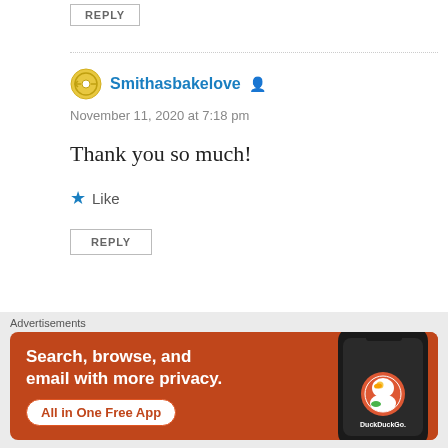REPLY
Smithasbakelove
November 11, 2020 at 7:18 pm
Thank you so much!
Like
REPLY
dessertflower5
Advertisements
[Figure (screenshot): DuckDuckGo advertisement banner: orange background with white bold text 'Search, browse, and email with more privacy.' and a white pill-shaped button with red text 'All in One Free App', alongside a phone image showing the DuckDuckGo app logo]